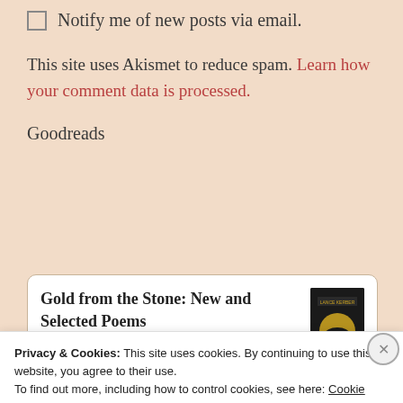Notify me of new posts via email.
This site uses Akismet to reduce spam. Learn how your comment data is processed.
Goodreads
Gold from the Stone: New and Selected Poems
Privacy & Cookies: This site uses cookies. By continuing to use this website, you agree to their use.
To find out more, including how to control cookies, see here: Cookie Policy
Close and accept